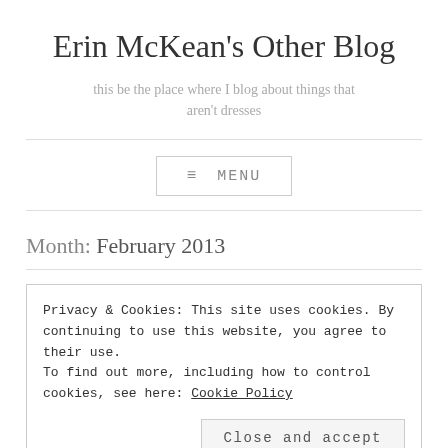Erin McKean's Other Blog
this be the place where I blog about things that aren't dresses
≡ MENU
Month: February 2013
Privacy & Cookies: This site uses cookies. By continuing to use this website, you agree to their use.
To find out more, including how to control cookies, see here: Cookie Policy
Close and accept